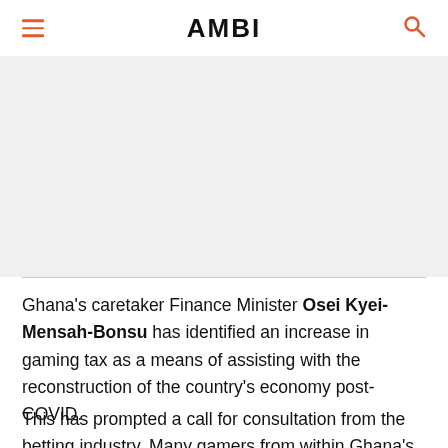AMBI
[Figure (photo): Image area / article photo (mostly white/blank in this view)]
Ghana's caretaker Finance Minister Osei Kyei-Mensah-Bonsu has identified an increase in gaming tax as a means of assisting with the reconstruction of the country's economy post-COVID.
This has prompted a call for consultation from the betting industry. Many gamers from within Ghana's burgeoning